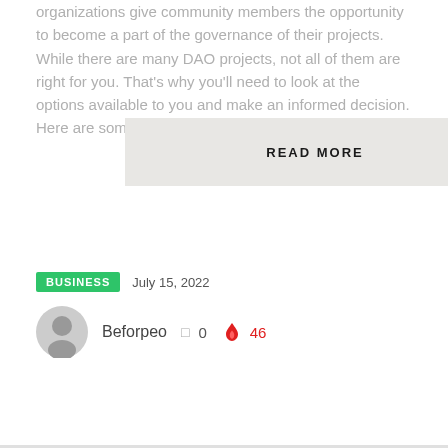organizations give community members the opportunity to become a part of the governance of their projects. While there are many DAO projects, not all of them are right for you. That's why you'll need to look at the options available to you and make an informed decision. Here are some things to look for in a DAO.
READ MORE
BUSINESS  July 15, 2022
Beforpeo  0  46